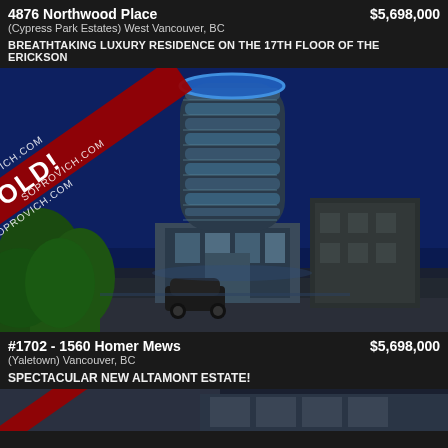4876 Northwood Place
(Cypress Park Estates) West Vancouver, BC
$5,698,000
BREATHTAKING LUXURY RESIDENCE ON THE 17TH FLOOR OF THE ERICKSON
[Figure (photo): Night photograph of a modern high-rise glass tower (The Erickson) illuminated against a deep blue sky, with a SOLD! watermark overlay from SOPROVICH.COM]
#1702 - 1560 Homer Mews
(Yaletown) Vancouver, BC
$5,698,000
SPECTACULAR NEW ALTAMONT ESTATE!
[Figure (photo): Partial view of another property listing photo at the bottom of the page]